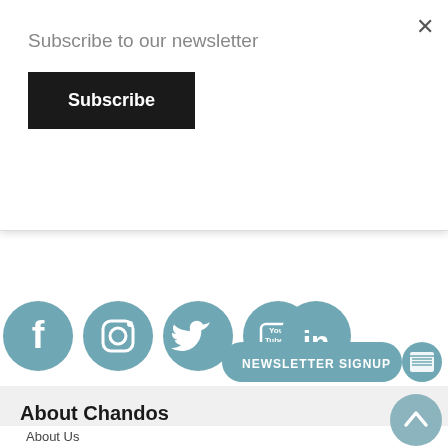Subscribe to our newsletter
Subscribe
Conductor: Robert Childs *
[Figure (illustration): Social media icons: Facebook, Instagram, Twitter, YouTube, LinkedIn — teal circular icons]
[Figure (illustration): Newsletter Signup button with teal background and newspaper icon]
About Chandos
About Us
Chandos Records is one of the world's premier classical music record companies, best known for its ground-breaking search for neglected